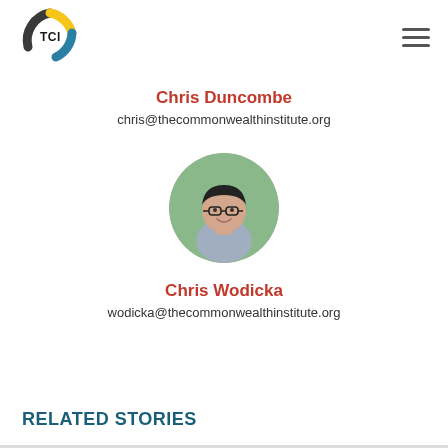[Figure (logo): TCI (The Commonwealth Institute) circular logo with yellow, blue, and dark arc segments and 'TCI' text in the center]
Chris Duncombe
chris@thecommonwealthinstitute.org
[Figure (photo): Circular headshot photo of Chris Wodicka, a young Asian man wearing glasses and a light blue shirt, with a green blurred background]
Chris Wodicka
wodicka@thecommonwealthinstitute.org
RELATED STORIES